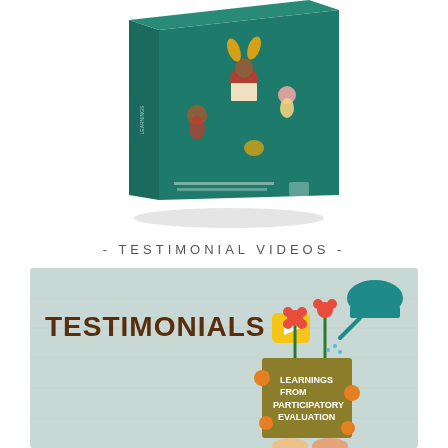[Figure (photo): A 3D rendered book with a teal/dark green cover featuring illustrated characters reading, with small text listing author names at the bottom and a publisher logo]
- TESTIMONIAL VIDEOS -
[Figure (photo): A video thumbnail with light blue background showing the word TESTIMONIALS with a play button icon, and an illustrated pot/book with flowers being watered, text reads LEARNINGS FROM PARTICIPATORY EVALUATION]